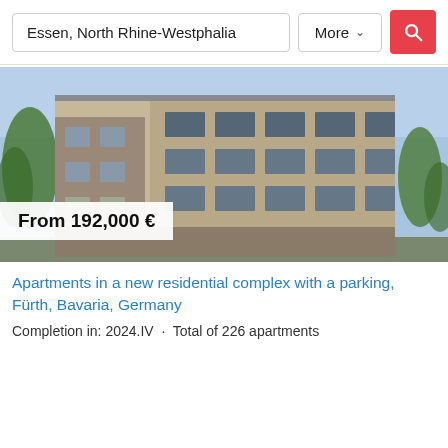Essen, North Rhine-Westphalia | More
[Figure (photo): Exterior photo of a modern multi-storey residential apartment complex with balconies, surrounded by trees, under a clear blue sky. Price overlay reads 'From 192,000 €'.]
Apartments in a new residential complex with a parking, Fürth, Bavaria, Germany
Completion in: 2024.IV  ·  Total of 226 apartments